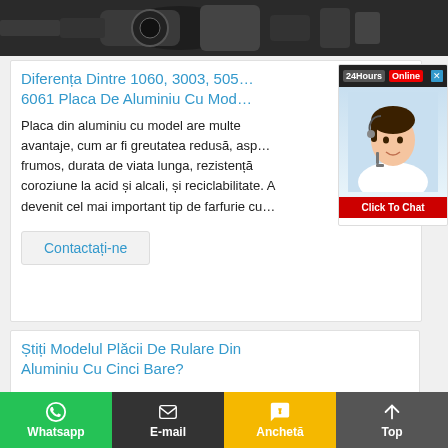[Figure (photo): Dark industrial/machinery photo showing metal equipment parts]
Diferența Dintre 1060, 3003, 5052, 6061 Placa De Aluminiu Cu Model
Placa din aluminiu cu model are multe avantaje, cum ar fi greutatea redusă, aspect frumos, durata de viata lunga, rezistență la coroziune la acid și alcali, și reciclabilitate. A devenit cel mai important tip de farfurie cu…
Contactați-ne
Știți Modelul Plăcii De Rulare Din Aluminiu Cu Cinci Bare?
Whatsapp   E-mail   Anchetă   Top